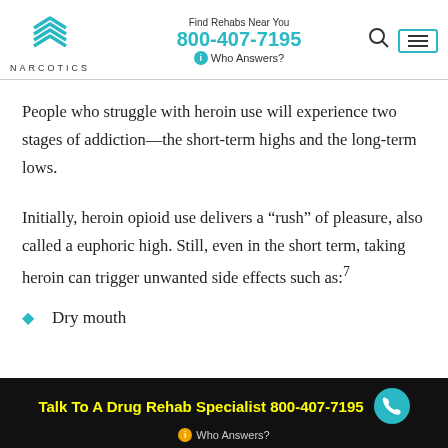NARCOTICS | Find Rehabs Near You 800-407-7195 Who Answers?
People who struggle with heroin use will experience two stages of addiction—the short-term highs and the long-term lows.
Initially, heroin opioid use delivers a “rush” of pleasure, also called a euphoric high. Still, even in the short term, taking heroin can trigger unwanted side effects such as:⁷
Dry mouth
Talk To A Drug Rehab Specialist 800-407-7195 ☎ Who Answers?